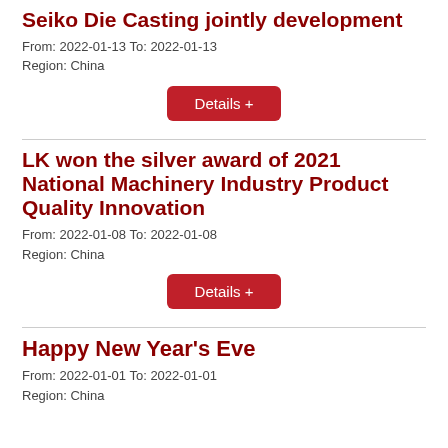Seiko Die Casting jointly development
From: 2022-01-13 To: 2022-01-13
Region: China
Details +
LK won the silver award of 2021 National Machinery Industry Product Quality Innovation
From: 2022-01-08 To: 2022-01-08
Region: China
Details +
Happy New Year's Eve
From: 2022-01-01 To: 2022-01-01
Region: China